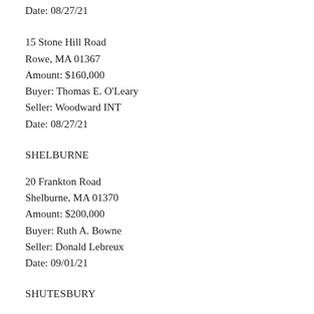Date: 08/27/21
15 Stone Hill Road
Rowe, MA 01367
Amount: $160,000
Buyer: Thomas E. O'Leary
Seller: Woodward INT
Date: 08/27/21
SHELBURNE
20 Frankton Road
Shelburne, MA 01370
Amount: $200,000
Buyer: Ruth A. Bowne
Seller: Donald Lebreux
Date: 09/01/21
SHUTESBURY